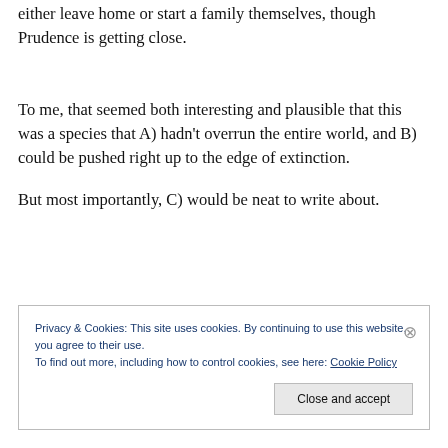either leave home or start a family themselves, though Prudence is getting close.
To me, that seemed both interesting and plausible that this was a species that A) hadn't overrun the entire world, and B) could be pushed right up to the edge of extinction.
But most importantly, C) would be neat to write about.
Privacy & Cookies: This site uses cookies. By continuing to use this website, you agree to their use.
To find out more, including how to control cookies, see here: Cookie Policy
Close and accept